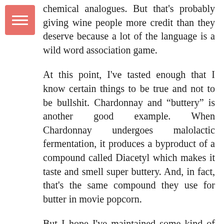[Figure (other): Pink/salmon colored square icon with three horizontal white lines (hamburger menu icon)]
chemical analogues. But that's probably giving wine people more credit than they deserve because a lot of the language is a wild word association game.
At this point, I've tasted enough that I know certain things to be true and not to be bullshit. Chardonnay and "buttery" is another good example. When Chardonnay undergoes malolactic fermentation, it produces a byproduct of a compound called Diacetyl which makes it taste and smell super buttery. And, in fact, that's the same compound they use for butter in movie popcorn.
But I hope I've maintained some kind of skepticism about the tasting vocabulary even though I'm part of the wine-writing